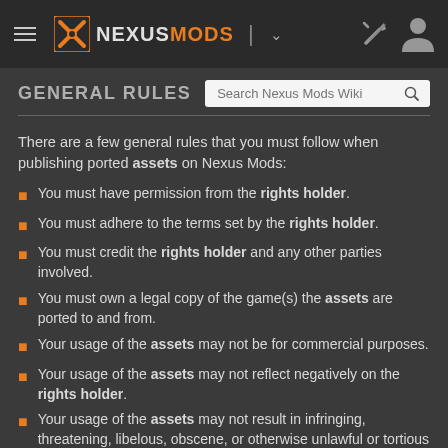NEXUSMODS
GENERAL RULES
There are a few general rules that you must follow when publishing ported assets on Nexus Mods:
You must have permission from the rights holder.
You must adhere to the terms set by the rights holder.
You must credit the rights holder and any other parties involved.
You must own a legal copy of the game(s) the assets are ported to and from.
Your usage of the assets may not be for commercial purposes.
Your usage of the assets may not reflect negatively on the rights holder.
Your usage of the assets may not result in infringing, threatening, libelous, obscene, or otherwise unlawful or tortious material (as determined by the rights holder).